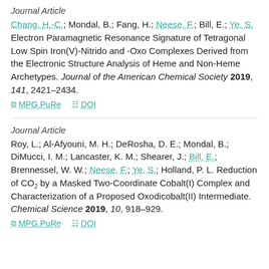Journal Article
Chang, H.-C.; Mondal, B.; Fang, H.; Neese, F.; Bill, E.; Ye, S. Electron Paramagnetic Resonance Signature of Tetragonal Low Spin Iron(V)-Nitrido and -Oxo Complexes Derived from the Electronic Structure Analysis of Heme and Non-Heme Archetypes. Journal of the American Chemical Society 2019, 141, 2421–2434.
MPG.PuRe   DOI
Journal Article
Roy, L.; Al-Afyouni, M. H.; DeRosha, D. E.; Mondal, B.; DiMucci, I. M.; Lancaster, K. M.; Shearer, J.; Bill, E.; Brennessel, W. W.; Neese, F.; Ye, S.; Holland, P. L. Reduction of CO2 by a Masked Two-Coordinate Cobalt(I) Complex and Characterization of a Proposed Oxodicobalt(II) Intermediate. Chemical Science 2019, 10, 918–929.
MPG.PuRe   DOI